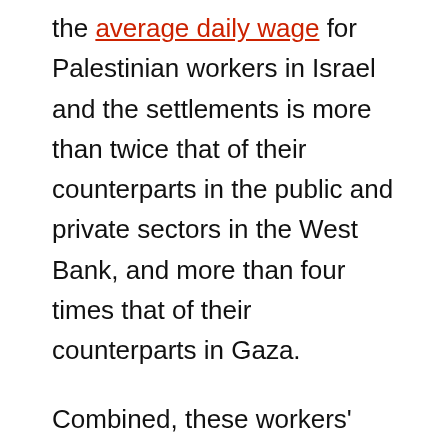the average daily wage for Palestinian workers in Israel and the settlements is more than twice that of their counterparts in the public and private sectors in the West Bank, and more than four times that of their counterparts in Gaza.
Combined, these workers' income is crucial for boosting the performance of the Palestinian economy; any changes thereto — namely, via the loss of jobs in Israel and the settlements — will directly affect hundreds of thousands of Palestinian families.5 This became particularly evident when the number of workers in Israel and settlements decreased at the end of 2020 by